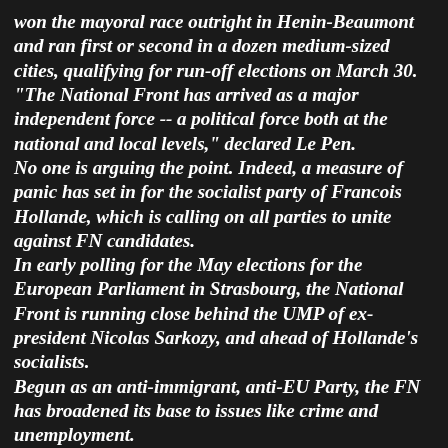won the mayoral race outright in Henin-Beaumont and ran first or second in a dozen medium-sized cities, qualifying for run-off elections on March 30.
"The National Front has arrived as a major independent force -- a political force both at the national and local levels," declared Le Pen.
No one is arguing the point. Indeed, a measure of panic has set in for the socialist party of Francois Hollande, which is calling on all parties to unite against FN candidates.
In early polling for the May elections for the European Parliament in Strasbourg, the National Front is running close behind the UMP of ex-president Nicolas Sarkozy, and ahead of Hollande's socialists.
Begun as an anti-immigrant, anti-EU Party, the FN has broadened its base to issues like crime and unemployment.
But the most startling news on the nationalist front last week came in Venice and the Veneto region, where 89 percent of a